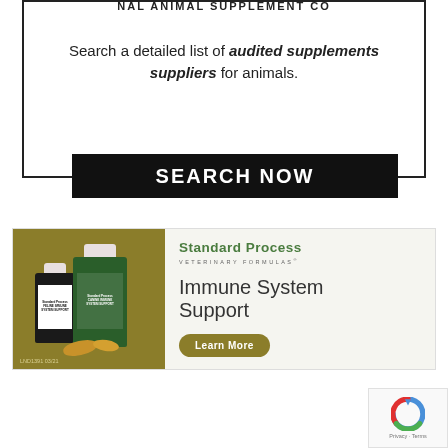[Figure (illustration): Partial arc text reading 'NAL ANIMAL SUPPLEMENT CO' at top of a bordered box]
Search a detailed list of audited supplements suppliers for animals.
[Figure (other): Black button/banner with white text reading 'SEARCH NOW']
[Figure (photo): Standard Process Veterinary Formulas advertisement banner. Left side: olive/gold background with two supplement bottles (small black bottle labeled 'Feline Immune System Support' and larger green bottle labeled 'Canine Immune System Support') with some orange chips/wafers. Right side: Standard Process Veterinary Formulas logo, 'Immune System Support' text, and 'Learn More' button. Bottom left code: LND1391 03/21]
[Figure (other): reCAPTCHA logo with Privacy and Terms links]